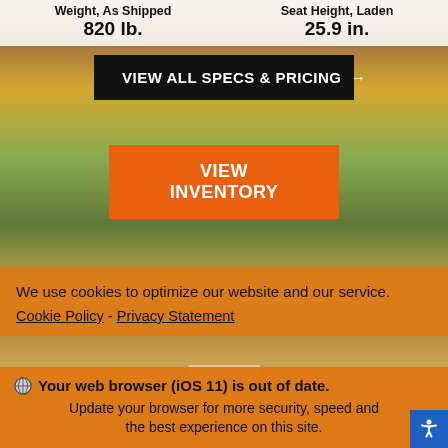| Weight, As Shipped | Seat Height, Laden |
| --- | --- |
| 820 lb. | 25.9 in. |
VIEW ALL SPECS & PRICING →
VIEW INVENTORY
[Figure (photo): Outdoor autumn landscape with trees, hills and dry grass in the background]
We use cookies to optimize our website and our service. Cookie Policy - Privacy Statement
Your web browser (iOS 11) is out of date. Update your browser for more security, speed and the best experience on this site.